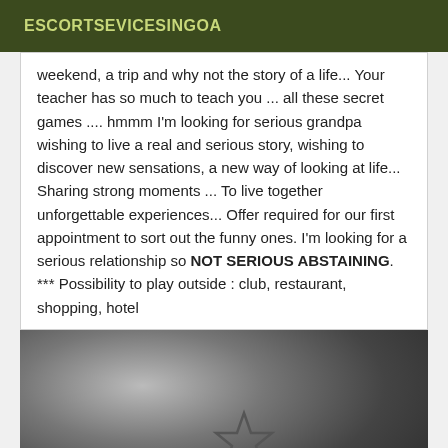ESCORTSEVICESINGOA
weekend, a trip and why not the story of a life... Your teacher has so much to teach you ... all these secret games .... hmmm I'm looking for serious grandpa wishing to live a real and serious story, wishing to discover new sensations, a new way of looking at life... Sharing strong moments ... To live together unforgettable experiences... Offer required for our first appointment to sort out the funny ones. I'm looking for a serious relationship so NOT SERIOUS ABSTAINING. *** Possibility to play outside : club, restaurant, shopping, hotel
[Figure (photo): Black and white intimate photograph of two people, one with a star tattoo visible on their chest/body]